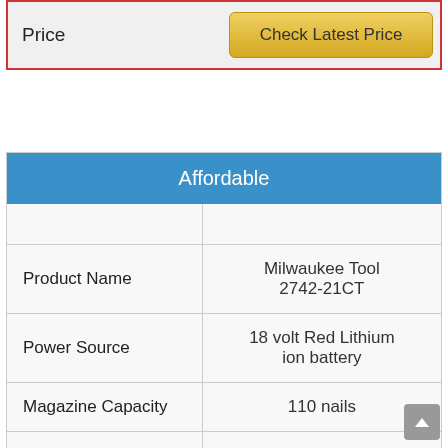| Price |  |
| --- | --- |
| Price | Check Latest Price |
| Affordable |  |
| --- | --- |
|  |  |
| Product Name | Milwaukee Tool 2742-21CT |
| Power Source | 18 volt Red Lithium ion battery |
| Magazine Capacity | 110 nails |
| Nail Size | 1-1/4 Inch – 2-1/2 Inch |